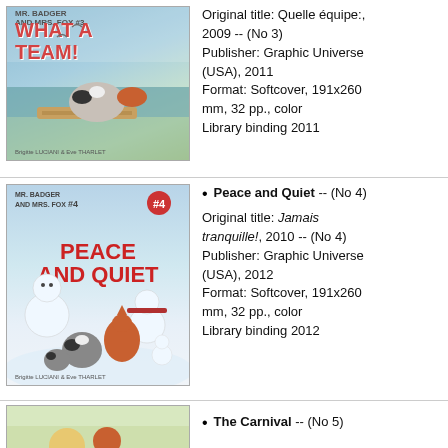[Figure (illustration): Book cover of 'What a Team!' (Mr. Badger and Mrs. Fox #3) showing cartoon animals including a badger on a raft, illustrated by Brigitte Luciani and Eve Tharlet]
Original title: Quelle équipe!, 2009 -- (No 3)
Publisher: Graphic Universe (USA), 2011
Format: Softcover, 191x260 mm, 32 pp., color
Library binding 2011
[Figure (illustration): Book cover of 'Peace and Quiet' (Mr. Badger and Mrs. Fox #4) showing cartoon animals building snowmen in winter, illustrated by Brigitte Luciani and Eve Tharlet]
Peace and Quiet -- (No 4)
Original title: Jamais tranquille!, 2010 -- (No 4)
Publisher: Graphic Universe (USA), 2012
Format: Softcover, 191x260 mm, 32 pp., color
Library binding 2012
[Figure (illustration): Partial book cover of 'The Carnival' (No 5), only top portion visible]
The Carnival -- (No 5)